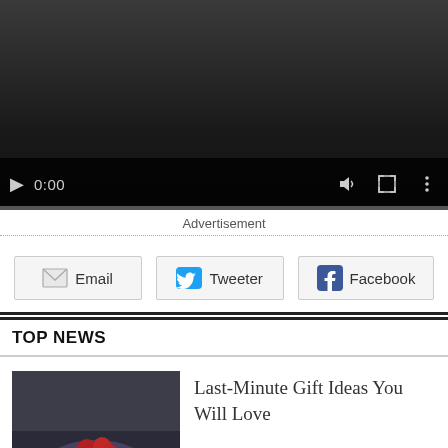[Figure (screenshot): Video player with dark background, play button, 0:00 timecode, volume/fullscreen/more icons, and a progress bar at the bottom]
Advertisement
[Figure (infographic): Social sharing buttons: Email, Tweeter, Facebook]
TOP NEWS
[Figure (photo): Hands holding red gift or berries]
Last-Minute Gift Ideas You Will Love